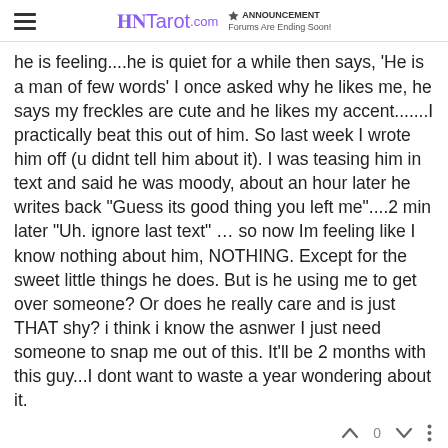Tarot.com | ANNOUNCEMENT Forums Are Ending Soon!
he is feeling....he is quiet for a while then says, 'He is a man of few words' I once asked why he likes me, he says my freckles are cute and he likes my accent.......I practically beat this out of him. So last week I wrote him off (u didnt tell him about it). I was teasing him in text and said he was moody, about an hour later he writes back "Guess its good thing you left me"....2 min later "Uh. ignore last text" ... so now Im feeling like I know nothing about him, NOTHING. Except for the sweet little things he does. But is he using me to get over someone? Or does he really care and is just THAT shy? i think i know the asnwer I just need someone to snap me out of this. It'll be 2 months with this guy...I dont want to waste a year wondering about it.